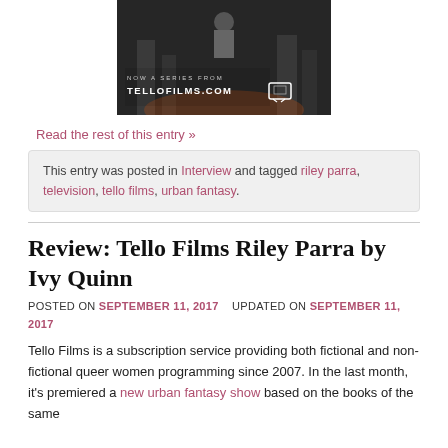[Figure (photo): Promotional image for Tello Films showing a person against a dark urban background with text overlay reading 'NOW A SERIES FROM TELLOFILMS.COM' with a TV icon]
Read the rest of this entry »
This entry was posted in Interview and tagged riley parra, television, tello films, urban fantasy.
Review: Tello Films Riley Parra by Ivy Quinn
POSTED ON SEPTEMBER 11, 2017   UPDATED ON SEPTEMBER 11, 2017
Tello Films is a subscription service providing both fictional and non-fictional queer women programming since 2007. In the last month, it's premiered a new urban fantasy show based on the books of the same